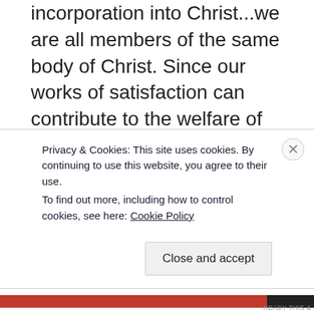incorporation into Christ...we are all members of the same body of Christ. Since our works of satisfaction can contribute to the welfare of others, will not our charity help us to do penance, not only for ourselves but likewise on behalf of our brethren? Is not this the best means of obtaining their conversion or, if they have turned to God, their perseverance? Is not this the best service we could possibly render them, a benefit worth infinitely more than all the temporal goods we could confer upon them? Thus, to atone for our neighbor's faults is but to carry out the will of God who having adopted us as His children commands...
Privacy & Cookies: This site uses cookies. By continuing to use this website, you agree to their use.
To find out more, including how to control cookies, see here: Cookie Policy
Close and accept